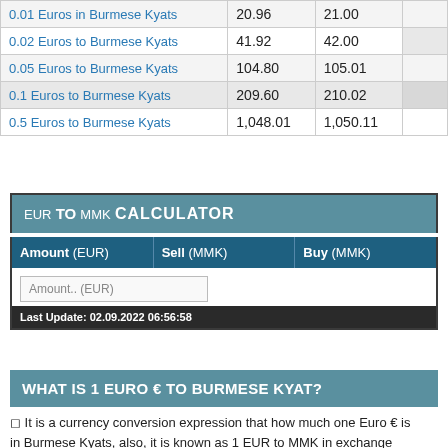|  |  |  |  |
| --- | --- | --- | --- |
| 0.01 Euros in Burmese Kyats | 20.96 | 21.00 |  |
| 0.02 Euros to Burmese Kyats | 41.92 | 42.00 |  |
| 0.05 Euros to Burmese Kyats | 104.80 | 105.01 |  |
| 0.1 Euros to Burmese Kyats | 209.60 | 210.02 |  |
| 0.5 Euros to Burmese Kyats | 1,048.01 | 1,050.11 |  |
EUR TO MMK CALCULATOR
| Amount (EUR) | Sell (MMK) | Buy (MMK) |
| --- | --- | --- |
| Amount.. (EUR) |  |  |
Last Update: 02.09.2022 06:56:58
WHAT IS 1 EURO € TO BURMESE KYAT?
◻ It is a currency conversion expression that how much one Euro € is in Burmese Kyats, also, it is known as 1 EUR to MMK in exchange